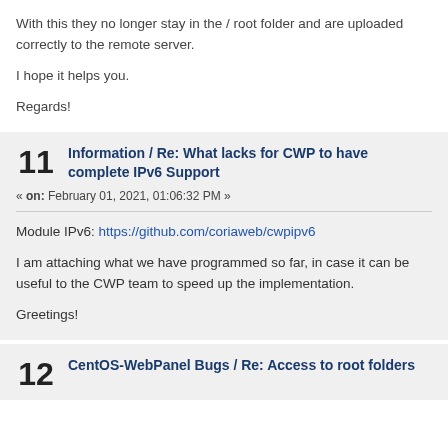With this they no longer stay in the / root folder and are uploaded correctly to the remote server.
I hope it helps you.
Regards!
11  Information / Re: What lacks for CWP to have complete IPv6 Support
« on: February 01, 2021, 01:06:32 PM »
Module IPv6: https://github.com/coriaweb/cwpipv6
I am attaching what we have programmed so far, in case it can be useful to the CWP team to speed up the implementation.
Greetings!
12  CentOS-WebPanel Bugs / Re: Access to root folders